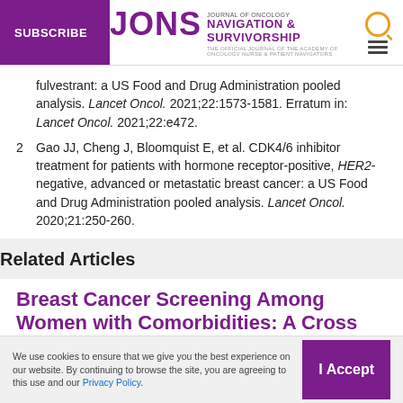SUBSCRIBE | JONS Journal of Oncology Navigation & Survivorship
fulvestrant: a US Food and Drug Administration pooled analysis. Lancet Oncol. 2021;22:1573-1581. Erratum in: Lancet Oncol. 2021;22:e472.
2 Gao JJ, Cheng J, Bloomquist E, et al. CDK4/6 inhibitor treatment for patients with hormone receptor-positive, HER2-negative, advanced or metastatic breast cancer: a US Food and Drug Administration pooled analysis. Lancet Oncol. 2020;21:250-260.
Related Articles
Breast Cancer Screening Among Women with Comorbidities: A Cross
We use cookies to ensure that we give you the best experience on our website. By continuing to browse the site, you are agreeing to this use and our Privacy Policy.